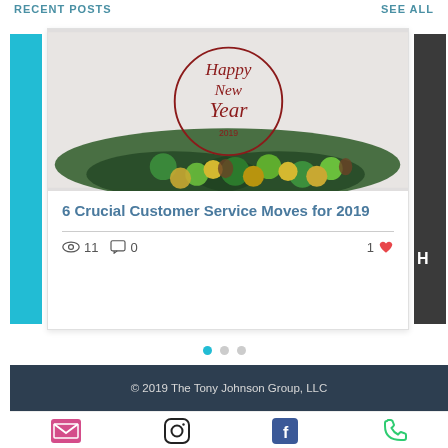Recent Posts | See All
[Figure (photo): Blog post card featuring a Happy New Year 2019 decoration with green and gold ornaments on pine branches. Title reads: 6 Crucial Customer Service Moves for 2019. Stats: 11 views, 0 comments, 1 like.]
6 Crucial Customer Service Moves for 2019
© 2019 The Tony Johnson Group, LLC
[Figure (infographic): Social media icons row: email (pink envelope), Instagram (camera), Facebook (blue F), phone (green handset)]